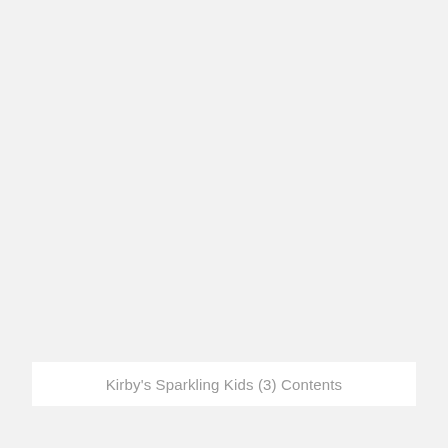Kirby's Sparkling Kids (3) Contents
Mario Picross (1) Front